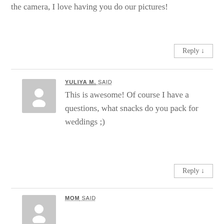the camera, I love having you do our pictures!
Reply ↓
YULIYA M. SAID
This is awesome! Of course I have a questions, what snacks do you pack for weddings ;)
Reply ↓
MOM SAID
I love the insight of what you do and what happens on wedding day.
Reply ↓